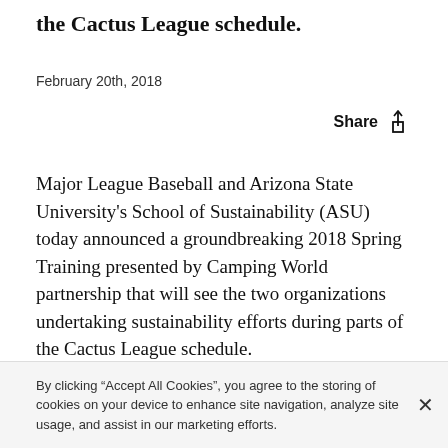the Cactus League schedule.
February 20th, 2018
Share
Major League Baseball and Arizona State University's School of Sustainability (ASU) today announced a groundbreaking 2018 Spring Training presented by Camping World partnership that will see the two organizations undertaking sustainability efforts during parts of the Cactus League schedule.
Salt River Fields at Talking Stick, the Spring Training
By clicking “Accept All Cookies”, you agree to the storing of cookies on your device to enhance site navigation, analyze site usage, and assist in our marketing efforts.